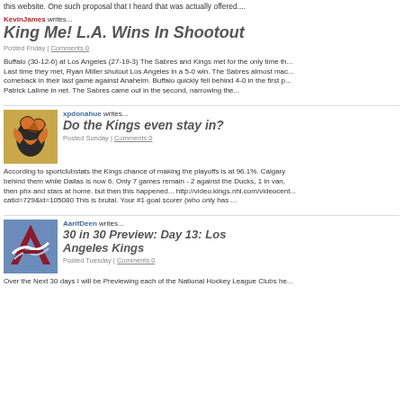this website. One such proposal that I heard that was actually offered....
KevinJames writes...
King Me! L.A. Wins In Shootout
Posted Friday | Comments 0
Buffalo (30-12-6) at Los Angeles (27-19-3) The Sabres and Kings met for the only time th... Last time they met, Ryan Miller shutout Los Angeles in a 5-0 win. The Sabres almost mac... comeback in their last game against Anaheim. Buffalo quickly fell behind 4-0 in the first p... Patrick Lalime in net. The Sabres came out in the second, narrowing the...
[Figure (logo): Anaheim Ducks logo - gold and black duck foot on golden background]
xpdonahue writes...
Do the Kings even stay in?
Posted Sunday | Comments 0
According to sportclubstats the Kings chance of making the playoffs is at 96.1%. Calgary behind them while Dallas is now 6. Only 7 games remain - 2 against the Ducks, 1 in van, then phx and stars at home. but then this happened... http://video.kings.nhl.com/videocent... catid=729&id=105080 This is brutal. Your #1 goal scorer (who only has ...
[Figure (logo): Colorado Avalanche logo - burgundy A with avalanche design on blue background]
AarifDeen writes...
30 in 30 Preview: Day 13: Los Angeles Kings
Posted Tuesday | Comments 0
Over the Next 30 days I will be Previewing each of the National Hockey League Clubs he...